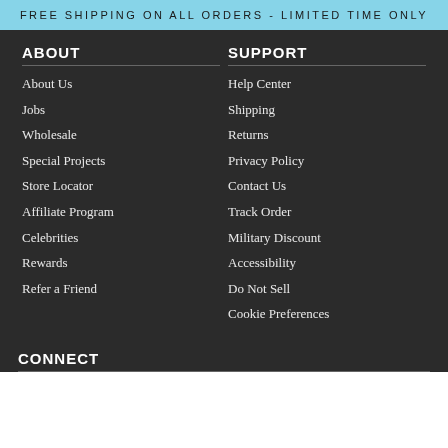FREE SHIPPING ON ALL ORDERS - LIMITED TIME ONLY
ABOUT
SUPPORT
About Us
Help Center
Jobs
Shipping
Wholesale
Returns
Special Projects
Privacy Policy
Store Locator
Contact Us
Affiliate Program
Track Order
Celebrities
Military Discount
Rewards
Accessibility
Refer a Friend
Do Not Sell
Cookie Preferences
CONNECT